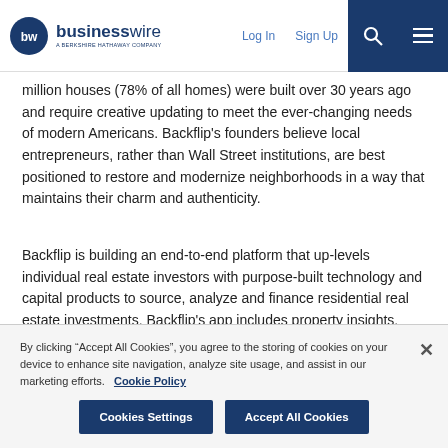businesswire — A BERKSHIRE HATHAWAY COMPANY | Log In | Sign Up
million houses (78% of all homes) were built over 30 years ago and require creative updating to meet the ever-changing needs of modern Americans. Backflip's founders believe local entrepreneurs, rather than Wall Street institutions, are best positioned to restore and modernize neighborhoods in a way that maintains their charm and authenticity.
Backflip is building an end-to-end platform that up-levels individual real estate investors with purpose-built technology and capital products to source, analyze and finance residential real estate investments. Backflip's app includes property insights, data, education, and community, paired with innovative capital solutions
By clicking "Accept All Cookies", you agree to the storing of cookies on your device to enhance site navigation, analyze site usage, and assist in our marketing efforts.   Cookie Policy
Cookies Settings | Accept All Cookies